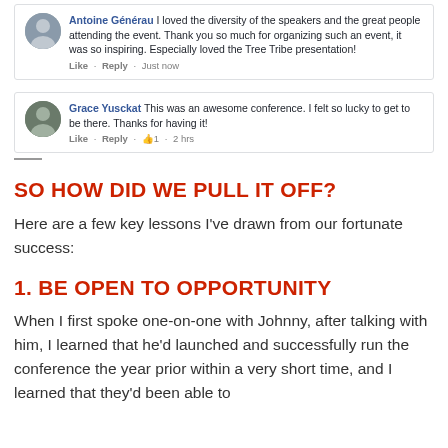[Figure (screenshot): Facebook comment by Antoine Générau: 'I loved the diversity of the speakers and the great people attending the event. Thank you so much for organizing such an event, it was so inspiring. Especially loved the Tree Tribe presentation!' with Like · Reply · Just now]
[Figure (screenshot): Facebook comment by Grace Yusckat: 'This was an awesome conference. I felt so lucky to get to be there. Thanks for having it!' with Like · Reply · 👍1 · 2 hrs]
SO HOW DID WE PULL IT OFF?
Here are a few key lessons I've drawn from our fortunate success:
1. BE OPEN TO OPPORTUNITY
When I first spoke one-on-one with Johnny, after talking with him, I learned that he'd launched and successfully run the conference the year prior within a very short time, and I learned that they'd been able to